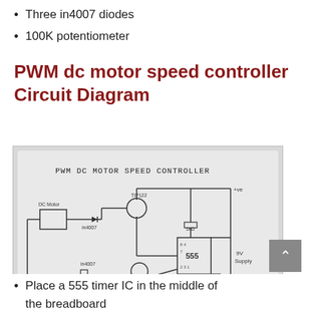Three in4007 diodes
100K potentiometer
PWM dc motor speed controller Circuit Diagram
[Figure (circuit-diagram): Hand-drawn PWM DC Motor Speed Controller circuit diagram showing DC motor, in4007 diodes, TIP122 transistor, 555 timer IC, 100K pot, 100nf capacitor, 1k resistor, 100nf capacitor, and 9V supply connections with +ve and -ve rails.]
Place a 555 timer IC in the middle of the breadboard